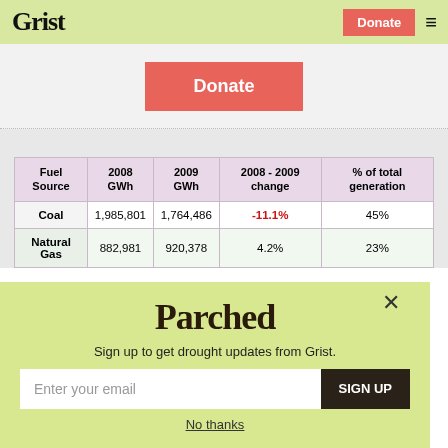Grist | Donate
[Figure (screenshot): Donate button banner area]
| Fuel Source | 2008 GWh | 2009 GWh | 2008 - 2009 change | % of total generation |
| --- | --- | --- | --- | --- |
| Coal | 1,985,801 | 1,764,486 | -11.1% | 45% |
| Natural Gas | 882,981 | 920,378 | 4.2% | 23% |
[Figure (screenshot): Parchea drought newsletter signup modal with email input and Sign Up button]
Sign up to get drought updates from Grist.
Enter your email
SIGN UP
No thanks